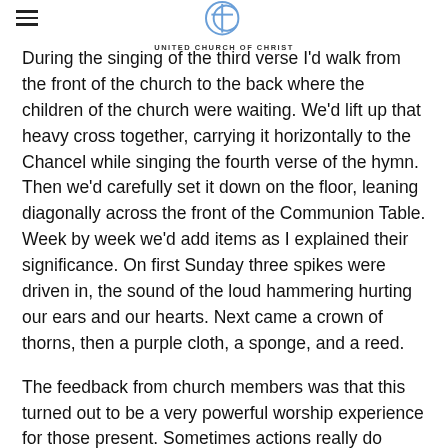UNITED CHURCH OF CHRIST
During the singing of the third verse I'd walk from the front of the church to the back where the children of the church were waiting. We'd lift up that heavy cross together, carrying it horizontally to the Chancel while singing the fourth verse of the hymn. Then we'd carefully set it down on the floor, leaning diagonally across the front of the Communion Table. Week by week we'd add items as I explained their significance. On first Sunday three spikes were driven in, the sound of the loud hammering hurting our ears and our hearts. Next came a crown of thorns, then a purple cloth, a sponge, and a reed.
The feedback from church members was that this turned out to be a very powerful worship experience for those present. Sometimes actions really do speak louder than words! What particularly sticks with me now is the weight of that cross and how we needed each other to be able to carry it. Out of